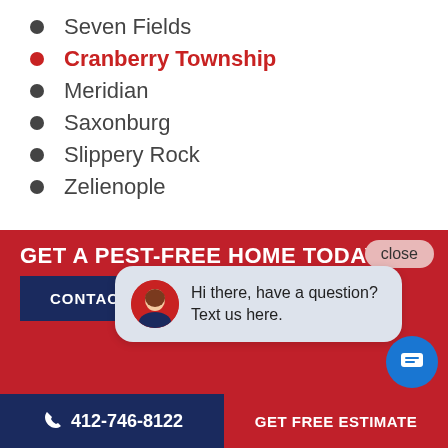Seven Fields
Cranberry Township
Meridian
Saxonburg
Slippery Rock
Zelienople
[Figure (screenshot): Red call-to-action banner with 'GET A PEST-FREE HOME TODAY!' heading, a chat bubble popup saying 'Hi there, have a question? Text us here.' with avatar, a 'close' button, and a 'CONTACT US' button. Bottom bar with phone number 412-746-8122 and 'GET FREE ESTIMATE' button. Blue chat FAB button.]